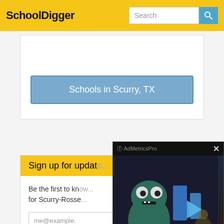SchoolDigger
Schools in Scurry, TX
Sign up for updat...
Be the first to kn... for Scurry-Rosse...
me@example....
[Figure (screenshot): AdMetricsPro video ad overlay showing a cartoon monster character with blue geometric shapes, with a mute button and close (X) button]